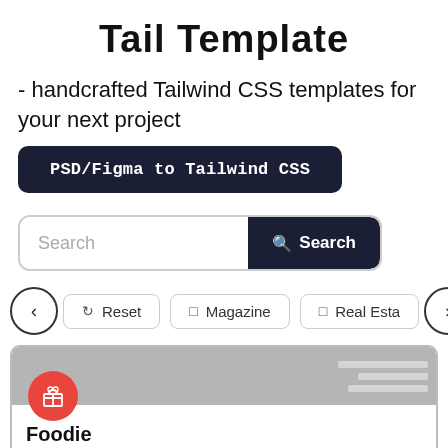Tail Template
- handcrafted Tailwind CSS templates for your next project
PSD/Figma to Tailwind CSS
Search
Reset | Magazine | Real Esta
[Figure (screenshot): Card preview with gray image placeholder, red circular gift badge, title 'Foodie', and partial text 'a free template for restaurant sites']